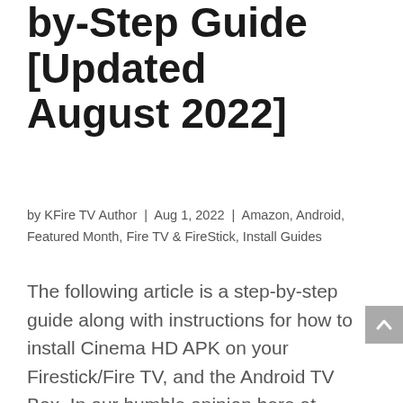by-Step Guide [Updated August 2022]
by KFire TV Author | Aug 1, 2022 | Amazon, Android, Featured Month, Fire TV & FireStick, Install Guides
The following article is a step-by-step guide along with instructions for how to install Cinema HD APK on your Firestick/Fire TV, and the Android TV Box. In our humble opinion here at KodiTV/FireStick, Cinema HD APK is BY